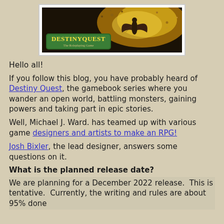[Figure (illustration): DestinyQuest: The Roleplaying Game banner image with green logo text and a character silhouette against an explosion background]
Hello all!
If you follow this blog, you have probably heard of Destiny Quest, the gamebook series where you wander an open world, battling monsters, gaining powers and taking part in epic stories.
Well, Michael J. Ward. has teamed up with various game designers and artists to make an RPG!
Josh Bixler, the lead designer, answers some questions on it.
What is the planned release date?
We are planning for a December 2022 release.  This is tentative.  Currently, the writing and rules are about 95% done and we will have more updates as we get closer.